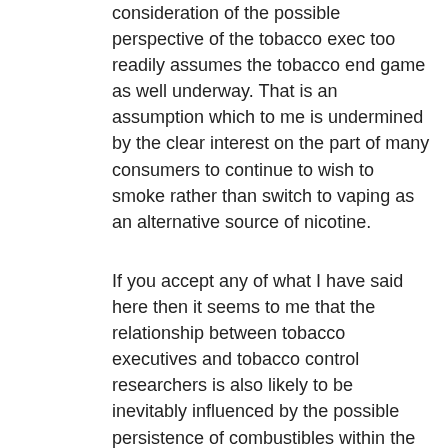consideration of the possible perspective of the tobacco exec too readily assumes the tobacco end game as well underway. That is an assumption which to me is undermined by the clear interest on the part of many consumers to continue to wish to smoke rather than switch to vaping as an alternative source of nicotine.
If you accept any of what I have said here then it seems to me that the relationship between tobacco executives and tobacco control researchers is also likely to be inevitably influenced by the possible persistence of combustibles within the marketplace wholly irrespective of the degree to which industry embraces ENDS products.